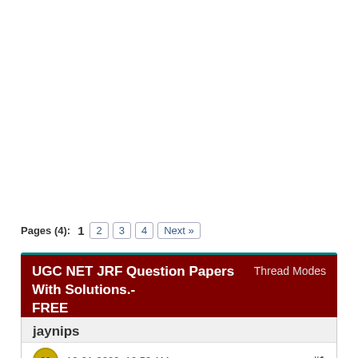Pages (4):  1  2  3  4  Next »
UGC NET JRF Question Papers With Solutions.- FREE    Thread Modes
jaynips
Unregistered
10-31-2009, 12:53 AM   #1